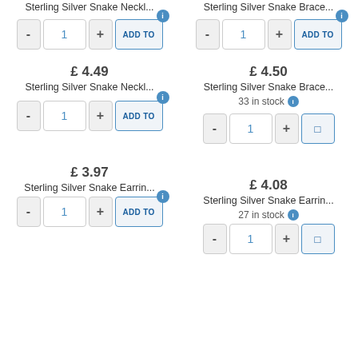Sterling Silver Snake Neckl...
Sterling Silver Snake Brace...
£ 4.49
Sterling Silver Snake Neckl...
£ 4.50
Sterling Silver Snake Brace...
33 in stock
£ 3.97
Sterling Silver Snake Earrin...
£ 4.08
Sterling Silver Snake Earrin...
27 in stock